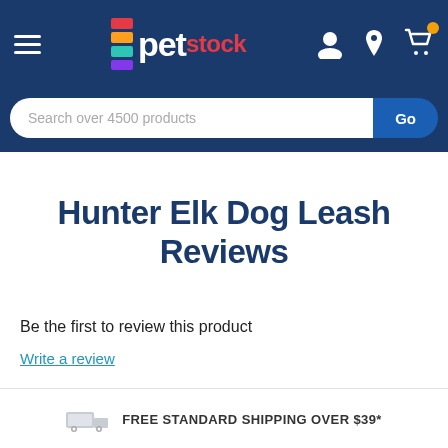[Figure (screenshot): PetStock website navigation bar with hamburger menu, PetStock logo, user icon, location icon, and cart icon with orange badge]
[Figure (screenshot): Search bar with placeholder text 'Search over 4500 products' and blue Go button]
Hunter Elk Dog Leash Reviews
Be the first to review this product
Write a review
FREE STANDARD SHIPPING OVER $39*